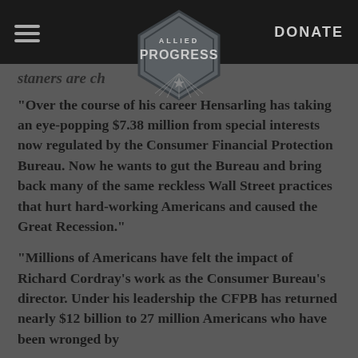Allied Progress | DONATE
[Figure (logo): Allied Progress diamond-shaped logo with rays and star]
staners are ch...rseeing.
“Over the course of his career Hensarling has taking an eye-popping $7.38 million from special interests now regulated by the Consumer Financial Protection Bureau. Now he wants to gut the Bureau and bring back many of the same reckless Wall Street practices that hurt hard-working Americans and caused the Great Recession.”
“Millions of Americans have felt the impact of Richard Cordray’s work as the Consumer Bureau’s director. Under his leadership the CFPB has returned nearly $12 billion to 27 million Americans who have been wronged by...